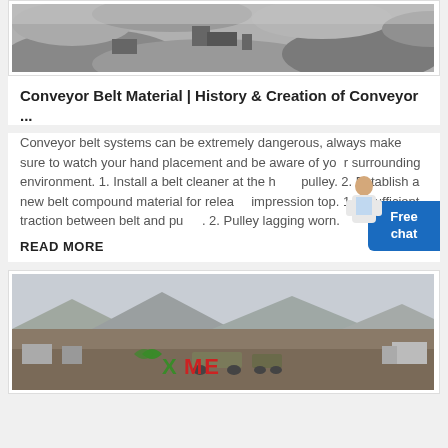[Figure (photo): Aerial/ground-level photo of a mining or quarry site with heavy machinery and rocky terrain, in black and white.]
Conveyor Belt Material | History & Creation of Conveyor ...
Conveyor belt systems can be extremely dangerous, always make sure to watch your hand placement and be aware of your surrounding environment. 1. Install a belt cleaner at the head pulley. 2. Establish a new belt compound material for release impression top. 1. Insufficient traction between belt and pulley. 2. Pulley lagging worn.
READ MORE
[Figure (photo): Photo of an industrial/mining facility or construction site with mountains in the background; XME logo visible in red and green text overlay.]